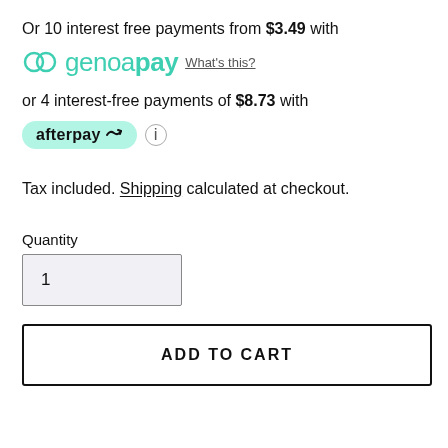Or 10 interest free payments from $3.49 with
[Figure (logo): Genoapay logo: teal circular icon and teal text 'genoapay' with a 'What's this?' link]
or 4 interest-free payments of $8.73 with
[Figure (logo): Afterpay badge: green rounded pill with 'afterpay' text and arrow icon, followed by an info icon]
Tax included. Shipping calculated at checkout.
Quantity
1
ADD TO CART